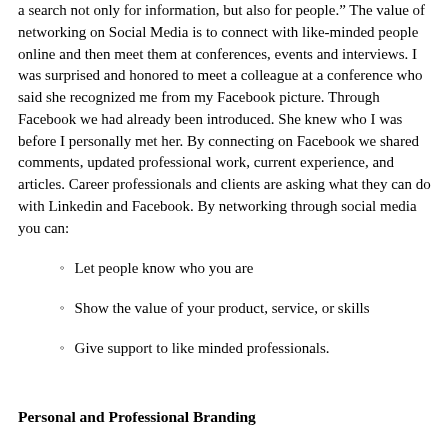a search not only for information, but also for people.” The value of networking on Social Media is to connect with like-minded people online and then meet them at conferences, events and interviews. I was surprised and honored to meet a colleague at a conference who said she recognized me from my Facebook picture. Through Facebook we had already been introduced. She knew who I was before I personally met her. By connecting on Facebook we shared comments, updated professional work, current experience, and articles. Career professionals and clients are asking what they can do with Linkedin and Facebook. By networking through social media you can:
Let people know who you are
Show the value of your product, service, or skills
Give support to like minded professionals.
Personal and Professional Branding